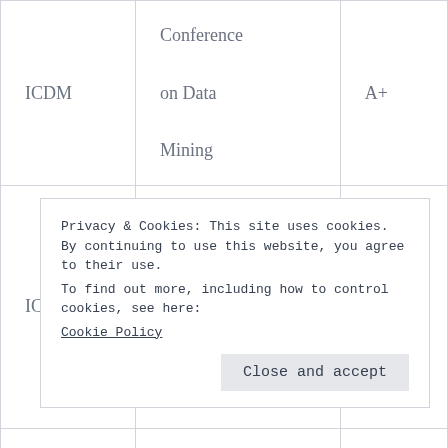| Acronym | Full Name | Rank |
| --- | --- | --- |
| ICDM | Conference on Data Mining | A+ |
| ICFP | International Conference on Functional Programming | A+ |
|  | Systems |  |
Privacy & Cookies: This site uses cookies. By continuing to use this website, you agree to their use.
To find out more, including how to control cookies, see here:
Cookie Policy
Close and accept